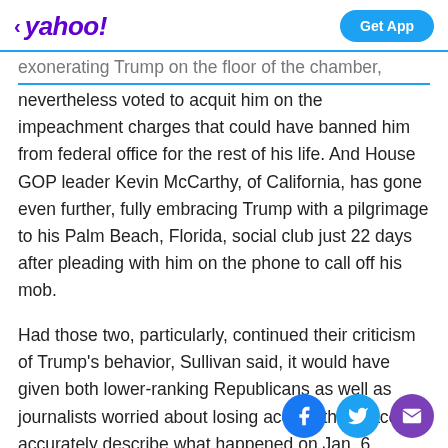< yahoo!  Get App
exonerating Trump on the floor of the chamber, nevertheless voted to acquit him on the impeachment charges that could have banned him from federal office for the rest of his life. And House GOP leader Kevin McCarthy, of California, has gone even further, fully embracing Trump with a pilgrimage to his Palm Beach, Florida, social club just 22 days after pleading with him on the phone to call off his mob.
Had those two, particularly, continued their criticism of Trump's behavior, Sullivan said, it would have given both lower-ranking Republicans as well as journalists worried about losing access the space to accurately describe what happened on Jan. 6.